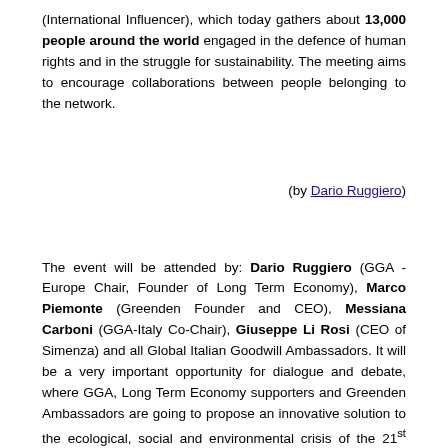(International Influencer), which today gathers about 13,000 people around the world engaged in the defence of human rights and in the struggle for sustainability. The meeting aims to encourage collaborations between people belonging to the network.
(by Dario Ruggiero)
The event will be attended by: Dario Ruggiero (GGA - Europe Chair, Founder of Long Term Economy), Marco Piemonte (Greenden Founder and CEO), Messiana Carboni (GGA-Italy Co-Chair), Giuseppe Li Rosi (CEO of Simenza) and all Global Italian Goodwill Ambassadors. It will be a very important opportunity for dialogue and debate, where GGA, Long Term Economy supporters and Greenden Ambassadors are going to propose an innovative solution to the ecological, social and environmental crisis of the 21st century. It is a pragmatic, real and effective project where the environment, people (economic and “social” opportunities especially for the young are to emerge) and the widespread quality of life (equality) come first. Becoming part of the network is